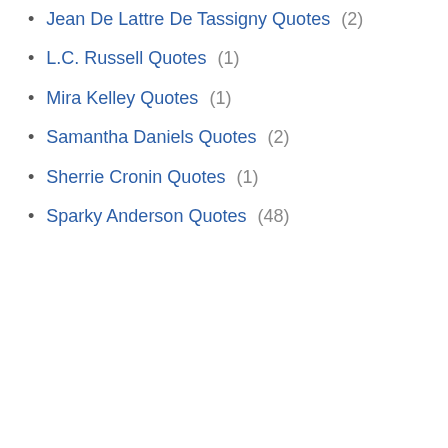Jean De Lattre De Tassigny Quotes (2)
L.C. Russell Quotes (1)
Mira Kelley Quotes (1)
Samantha Daniels Quotes (2)
Sherrie Cronin Quotes (1)
Sparky Anderson Quotes (48)